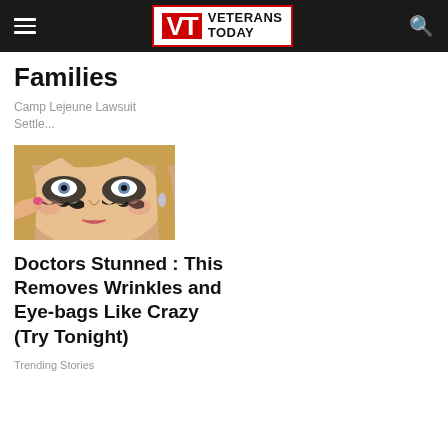Veterans Today
Families
Camp Lejeune Lawsuit Settle...
[Figure (photo): Woman applying or adjusting elaborate eye makeup with decorative lace-like embellishments around her eyes]
Doctors Stunned : This Removes Wrinkles and Eye-bags Like Crazy (Try Tonight)
Trending Stories